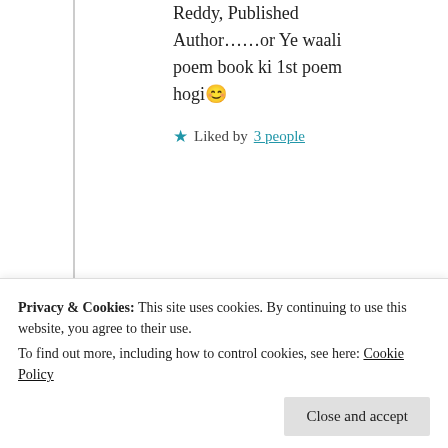Reddy, Published Author……or Ye waali poem book ki 1st poem hogi 😊
★ Liked by 3 people
Suma Reddy
2nd Jul 2021 at 6:33 pm
Privacy & Cookies: This site uses cookies. By continuing to use this website, you agree to their use.
To find out more, including how to control cookies, see here: Cookie Policy
Close and accept
precious advice has been